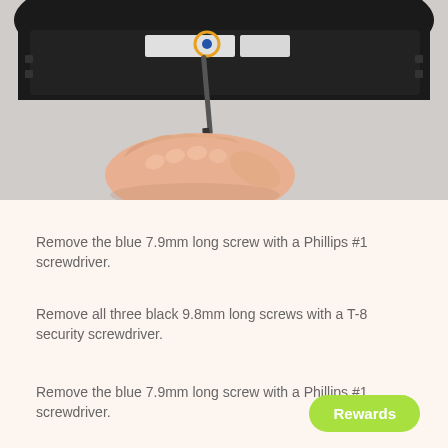[Figure (photo): A hand using a screwdriver on the underside of a black electronic device (router or speaker). A blue screw is highlighted with an orange circle marker. The device is oval/round shaped, dark black plastic, photographed against a white/grey background.]
Remove the blue 7.9mm long screw with a Phillips #1 screwdriver.
Remove all three black 9.8mm long screws with a T-8 security screwdriver.
Remove the blue 7.9mm long screw with a Phillips #1 screwdriver.